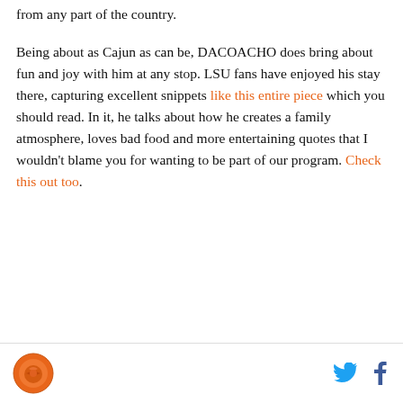from any part of the country.
Being about as Cajun as can be, DACOACHO does bring about fun and joy with him at any stop. LSU fans have enjoyed his stay there, capturing excellent snippets like this entire piece which you should read. In it, he talks about how he creates a family atmosphere, loves bad food and more entertaining quotes that I wouldn't blame you for wanting to be part of our program. Check this out too.